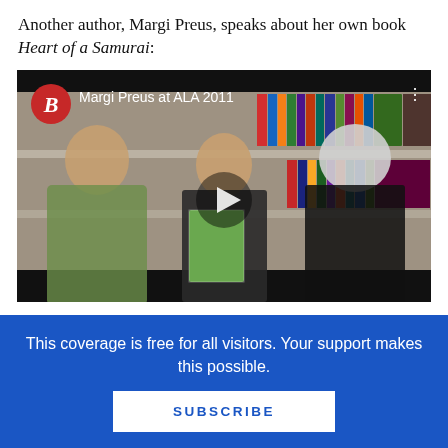Another author, Margi Preus, speaks about her own book Heart of a Samurai:
[Figure (screenshot): Video thumbnail showing Margi Preus at ALA 2011. Three people stand in front of a bookshelf: a young woman with curly hair on the left, a man in a suit holding a book in the center, and an older woman with short white hair on the right. A play button is overlaid in the center. The video player shows a Bookslut logo (red circle with 'B') and the title 'Margi Preus at ALA 2011' in the upper left, and a three-dot menu in the upper right. A black control bar appears at the bottom.]
This coverage is free for all visitors. Your support makes this possible.
SUBSCRIBE